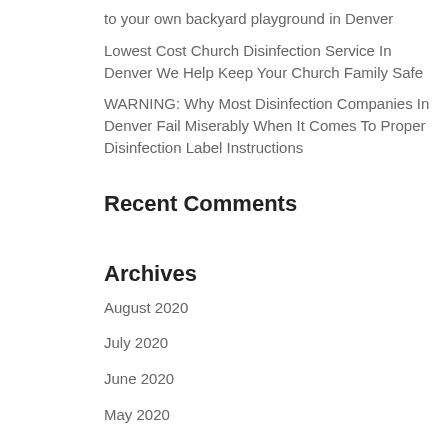to your own backyard playground in Denver
Lowest Cost Church Disinfection Service In Denver We Help Keep Your Church Family Safe
WARNING: Why Most Disinfection Companies In Denver Fail Miserably When It Comes To Proper Disinfection Label Instructions
Recent Comments
Archives
August 2020
July 2020
June 2020
May 2020
Categories